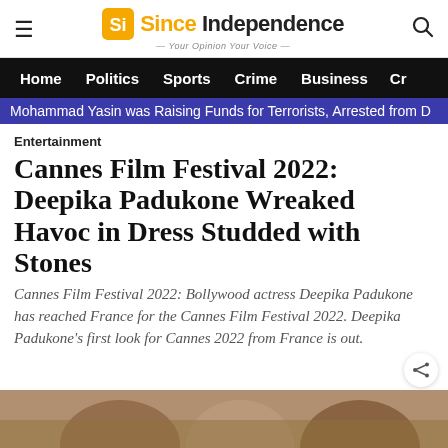Since Independence — Your Opinion Your Voice
Home  Politics  Sports  Crime  Business  Ci
Mohammad Yasin was Raising Funds for Terrorists, Arrested from D
Entertainment
Cannes Film Festival 2022: Deepika Padukone Wreaked Havoc in Dress Studded with Stones
Cannes Film Festival 2022: Bollywood actress Deepika Padukone has reached France for the Cannes Film Festival 2022. Deepika Padukone's first look for Cannes 2022 from France is out.
[Figure (photo): Bottom photo strip showing people at Cannes Film Festival 2022]